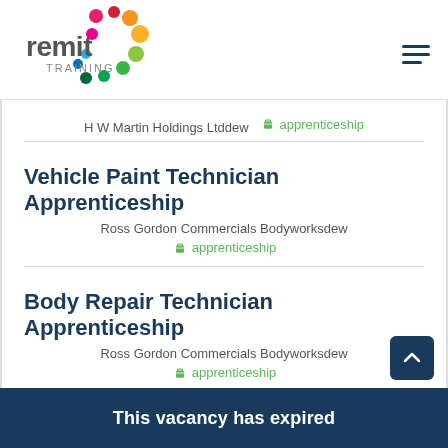[Figure (logo): Remit Training logo with colorful dots arranged in a circle pattern]
H W Martin Holdings Ltddew  🧳 apprenticeship
Vehicle Paint Technician Apprenticeship
Ross Gordon Commercials Bodyworksdew
🧳 apprenticeship
Body Repair Technician Apprenticeship
Ross Gordon Commercials Bodyworksdew
🧳 apprenticeship
Vehicle Paint Technician Apprenticeship
Ross Gordon Commercials Bodyworksdew
This vacancy has expired